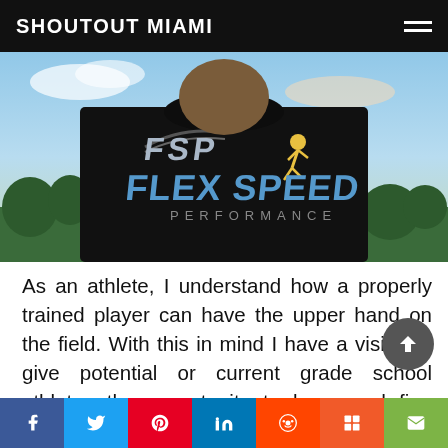SHOUTOUT MIAMI
[Figure (photo): Person wearing a black 'FSP FLEX SPEED PERFORMANCE' t-shirt, outdoors with trees and sky in background]
As an athlete, I understand how a properly trained player can have the upper hand on the field. With this in mind I have a vision to give potential or current grade school athletes the opportunity to learn and fine tune skill sets that will increase their chances of success on the field. My business does not intend to replace current trainings they may be receiving
Social share bar: Facebook, Twitter, Pinterest, LinkedIn, Reddit, Mix, Email